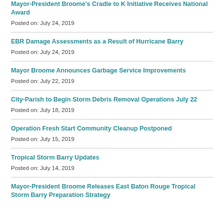Mayor-President Broome's Cradle to K Initiative Receives National Award
Posted on: July 24, 2019
EBR Damage Assessments as a Result of Hurricane Barry
Posted on: July 24, 2019
Mayor Broome Announces Garbage Service Improvements
Posted on: July 22, 2019
City-Parish to Begin Storm Debris Removal Operations July 22
Posted on: July 18, 2019
Operation Fresh Start Community Cleanup Postponed
Posted on: July 15, 2019
Tropical Storm Barry Updates
Posted on: July 14, 2019
Mayor-President Broome Releases East Baton Rouge Tropical Storm Barry Preparation Strategy